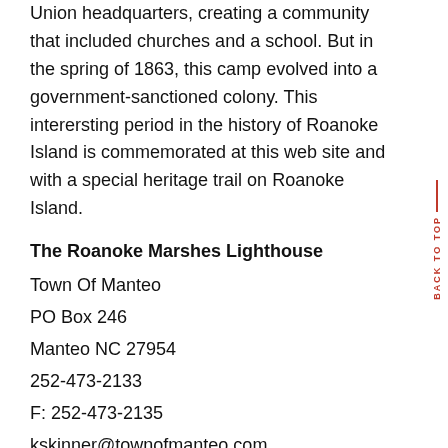Union headquarters, creating a community that included churches and a school. But in the spring of 1863, this camp evolved into a government-sanctioned colony. This interersting period in the history of Roanoke Island is commemorated at this web site and with a special heritage trail on Roanoke Island.
The Roanoke Marshes Lighthouse
Town Of Manteo
PO Box 246
Manteo NC 27954
252-473-2133
F: 252-473-2135
skinner@townofmanteo.com